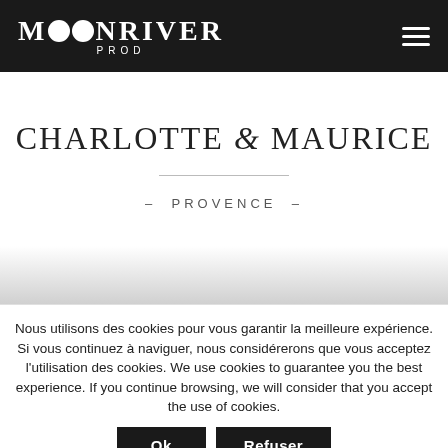MOONRIVER PROD
CHARLOTTE & MAURICE
– PROVENCE –
Nous utilisons des cookies pour vous garantir la meilleure expérience. Si vous continuez à naviguer, nous considérerons que vous acceptez l'utilisation des cookies. We use cookies to guarantee you the best experience. If you continue browsing, we will consider that you accept the use of cookies.